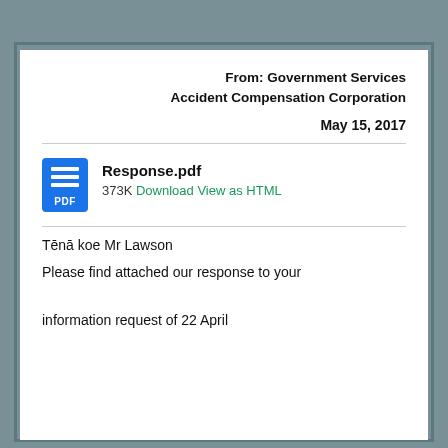From: Government Services Accident Compensation Corporation
May 15, 2017
[Figure (other): PDF file icon — blue rectangle with horizontal lines and PDF label]
Response.pdf
373K Download View as HTML
Tēnā koe Mr Lawson
Please find attached our response to your information request of 22 April